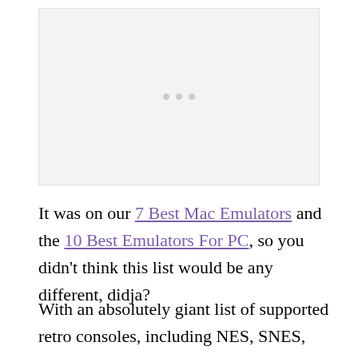[Figure (other): Advertisement placeholder box with light gray background and three small gray dots centered inside]
It was on our 7 Best Mac Emulators and the 10 Best Emulators For PC, so you didn't think this list would be any different, didja?
With an absolutely giant list of supported retro consoles, including NES, SNES, GB, GBA,